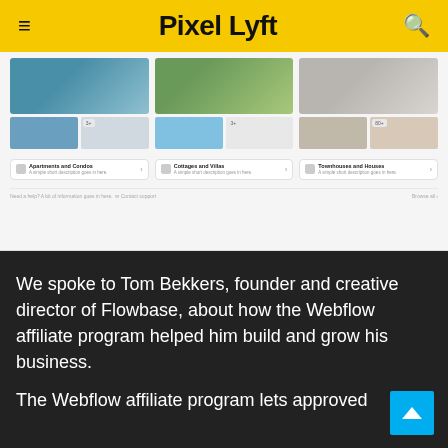Pixel Lyft
[Figure (screenshot): Screenshot of a real estate website showing property image grids with categories: Apartments and Condos, Cottages and Villas, Townhouses and Houses]
We spoke to Tom Bekkers, founder and creative director of Flowbase, about how the Webflow affiliate program helped him build and grow his business.
The Webflow affiliate program lets approved affiliates earn 50% of all payments for 12 months — the